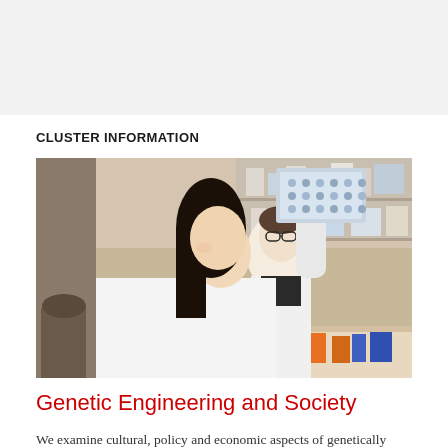CLUSTER INFORMATION
[Figure (photo): Two researchers in white lab coats in a laboratory setting. A smiling woman in the foreground holds up a lab sample (multi-well plate) with white gloves. A man with glasses stands behind her, also in a white coat, with lab shelves and supplies visible in the background.]
Genetic Engineering and Society
We examine cultural, policy and economic aspects of genetically